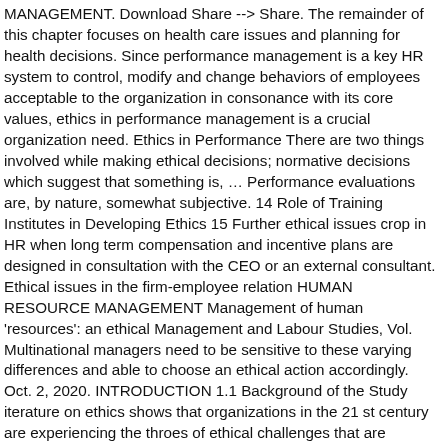MANAGEMENT. Download Share --> Share. The remainder of this chapter focuses on health care issues and planning for health decisions. Since performance management is a key HR system to control, modify and change behaviors of employees acceptable to the organization in consonance with its core values, ethics in performance management is a crucial organization need. Ethics in Performance There are two things involved while making ethical decisions; normative decisions which suggest that something is, … Performance evaluations are, by nature, somewhat subjective. 14 Role of Training Institutes in Developing Ethics 15 Further ethical issues crop in HR when long term compensation and incentive plans are designed in consultation with the CEO or an external consultant. Ethical issues in the firm-employee relation HUMAN RESOURCE MANAGEMENT Management of human 'resources': an ethical Management and Labour Studies, Vol. Multinational managers need to be sensitive to these varying differences and able to choose an ethical action accordingly. Oct. 2, 2020. INTRODUCTION 1.1 Background of the Study iterature on ethics shows that organizations in the 21 st century are experiencing the throes of ethical challenges that are essentially threatening their existence (Miller, 2009). The growing prevalence of CSR within the corporate environment has heightened many managers' awareness of ethical issues and of their responsibility to be conversant with them and able to make proper decisions. Serial No. A normal practice may be ethical in one country but unethical in